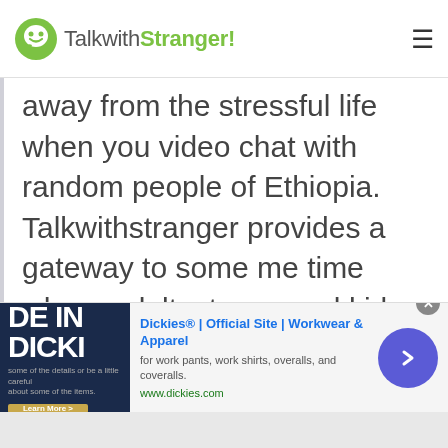TalkwithStranger!
away from the stressful life when you video chat with random people of Ethiopia. Talkwithstranger provides a gateway to some me time where adults, teens and kids can have free chat, random chat, stranger chat whether text chat or video chat with anyone around the globe. Get
[Figure (screenshot): Advertisement banner for Dickies® workwear showing 'DE IN DICKI' text on dark blue background with ad title 'Dickies® | Official Site | Workwear & Apparel', description 'for work pants, work shirts, overalls, and coveralls.', URL 'www.dickies.com', and a purple circular arrow button on the right.]